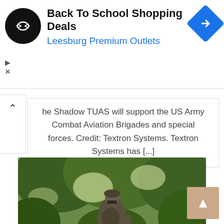[Figure (other): Advertisement banner: circular black logo with white chain link icon, headline 'Back To School Shopping Deals', subtitle 'Leesburg Premium Outlets' in blue, blue diamond navigation icon top right, play and X controls bottom left]
he Shadow TUAS will support the US Army Combat Aviation Brigades and special forces. Credit: Textron Systems. Textron Systems has [...]
[Figure (photo): A soldier in camouflage uniform and sunglasses, holding a rifle, standing amid lush green foliage and trees in dappled sunlight]